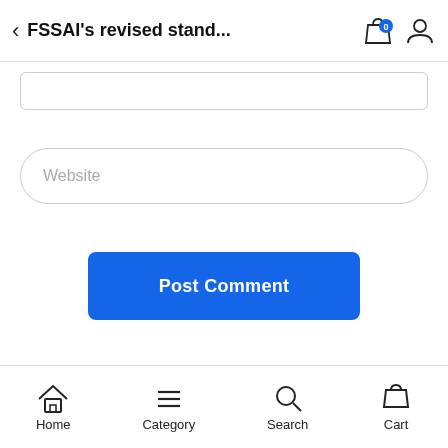FSSAI's revised stand...
Website
Post Comment
Home  Category  Search  Cart